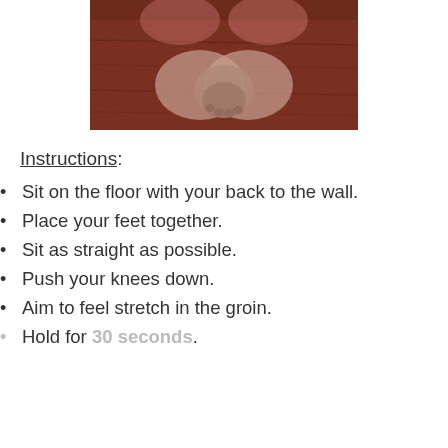[Figure (photo): Photo showing a person sitting on a wooden floor with feet placed together, hands clasped around the feet, viewed from above. Butterfly pose stretch exercise.]
Instructions:
Sit on the floor with your back to the wall.
Place your feet together.
Sit as straight as possible.
Push your knees down.
Aim to feel stretch in the groin.
Hold for 30 seconds.